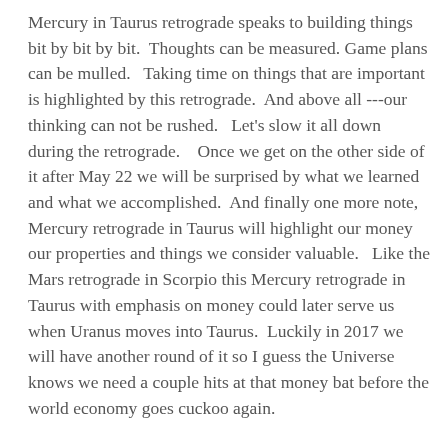Mercury in Taurus retrograde speaks to building things bit by bit by bit.  Thoughts can be measured. Game plans can be mulled.   Taking time on things that are important is highlighted by this retrograde.  And above all ---our thinking can not be rushed.   Let's slow it all down during the retrograde.    Once we get on the other side of it after May 22 we will be surprised by what we learned and what we accomplished.  And finally one more note, Mercury retrograde in Taurus will highlight our money our properties and things we consider valuable.   Like the Mars retrograde in Scorpio this Mercury retrograde in Taurus with emphasis on money could later serve us when Uranus moves into Taurus.  Luckily in 2017 we will have another round of it so I guess the Universe knows we need a couple hits at that money bat before the world economy goes cuckoo again.